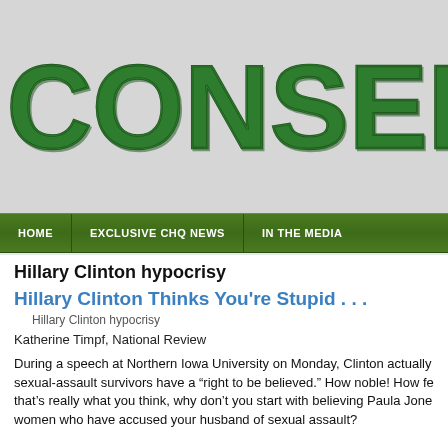[Figure (logo): Conservative HQ website logo with large collegiate/varsity style green lettering spelling CONSERVATIV (partially visible, cut off at right edge)]
HOME   EXCLUSIVE CHQ NEWS   IN THE MEDIA
Hillary Clinton hypocrisy
Hillary Clinton Thinks You're Stupid . . .
Hillary Clinton hypocrisy
Katherine Timpf, National Review
During a speech at Northern Iowa University on Monday, Clinton actually sexual-assault survivors have a "right to be believed." How noble! How fe that's really what you think, why don't you start with believing Paula Jone women who have accused your husband of sexual assault?